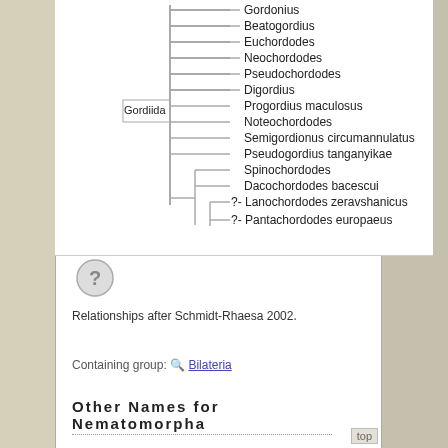[Figure (other): Phylogenetic tree (cladogram) showing relationships among genera in Gordiida and related groups. Taxa listed: Gordonius, Beatogordius, Euchordodes, Neochordodes, Pseudochordodes, Digordius, Progordius maculosus, Noteochordodes, Semigordionus circumannulatus, Pseudogordius tanganyikae, Spinochordodes, Dacochordodes bacescui, ?Lanochordodes zeravshanicus, ?Pantachordodes europaeus. Gordiida label on left side.]
[Figure (other): A question mark icon (circle with ? symbol) indicating uncertain relationship]
Relationships after Schmidt-Rhaesa 2002.
Containing group: Bilateria
Other Names for Nematomorpha
top